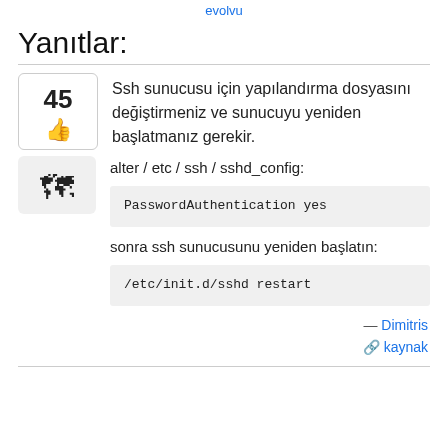evolvu
Yanıtlar:
Ssh sunucusu için yapılandırma dosyasını değiştirmeniz ve sunucuyu yeniden başlatmanız gerekir.
alter / etc / ssh / sshd_config:
sonra ssh sunucusunu yeniden başlatın:
— Dimitris
kaynak